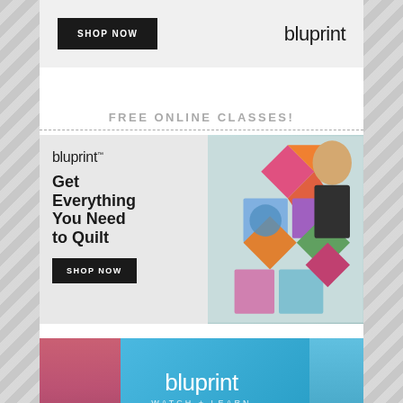[Figure (screenshot): Top banner with black 'SHOP NOW' button and 'bluprint' logo on light gray background]
FREE ONLINE CLASSES!
[Figure (screenshot): Bluprint advertisement: 'Get Everything You Need to Quilt' with SHOP NOW button, woman holding colorful quilt on right side]
[Figure (screenshot): Bluprint 'WATCH + LEARN' advertisement banner with colorful background]